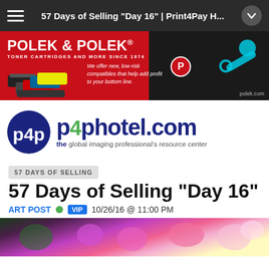57 Days of Selling "Day 16" | Print4Pay H...
[Figure (photo): Polek & Polek advertisement banner for toner cartridges. Red and dark background with toner cartridge images on left, key icon on right, and P logo circle. Text: POLEK & POLEK® TONER CARTRIDGES AND MORE SINCE 1974. We offer new, low-risk compatibles that help add profit to your bottom line. polek.com]
[Figure (logo): p4photel.com logo with circular P4P emblem in dark navy blue and white, next to text 'p4photel.com' in navy with green number 4, and tagline 'the global imaging professional's resource center']
57 DAYS OF SELLING
57 Days of Selling "Day 16"
ART POST  VIP  10/26/16 @ 11:00 PM
[Figure (photo): Colorful floral photograph showing pink, white, and magenta flowers, likely bougainvillea or similar flowering plants against green foliage background]